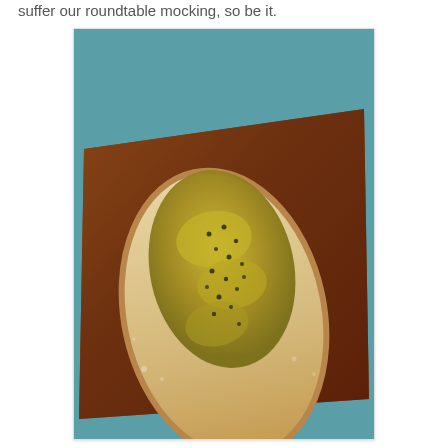suffer our roundtable mocking, so be it.
[Figure (photo): A slice of bread topped with golden-green kiwi jam, placed on a wooden cutting board with a teal/blue background.]